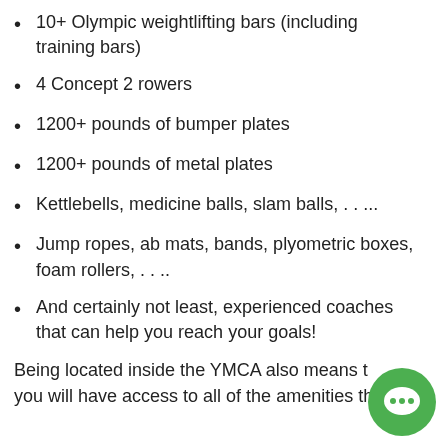10+ Olympic weightlifting bars (including training bars)
4 Concept 2 rowers
1200+ pounds of bumper plates
1200+ pounds of metal plates
Kettlebells, medicine balls, slam balls, . . ...
Jump ropes, ab mats, bands, plyometric boxes, foam rollers, . . ..
And certainly not least, experienced coaches that can help you reach your goals!
Being located inside the YMCA also means that you will have access to all of the amenities tha...